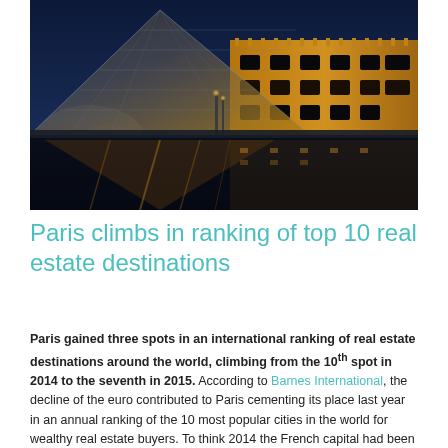[Figure (photo): Nighttime photograph of the Louvre Pyramid in Paris, illuminated with golden lights reflecting in the water, with the historic museum facade in the background and a dramatic blue sky.]
Paris climbs in ranking of top 10 real estate destinations
Paris gained three spots in an international ranking of real estate destinations around the world, climbing from the 10th spot in 2014 to the seventh in 2015. According to Barnes International, the decline of the euro contributed to Paris cementing its place last year in an annual ranking of the 10 most popular cities in the world for wealthy real estate buyers. To think 2014 the French capital had been displaced to promote...